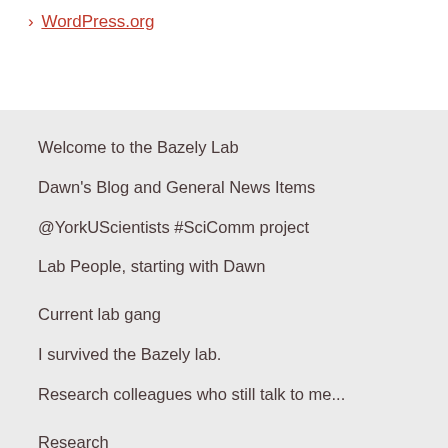> WordPress.org
Welcome to the Bazely Lab
Dawn's Blog and General News Items
@YorkUScientists #SciComm project
Lab People, starting with Dawn
Current lab gang
I survived the Bazely lab.
Research colleagues who still talk to me...
Research
Herbivory
Plant defences
Grassland Ecology